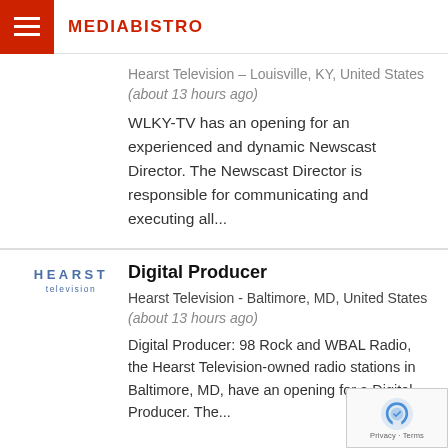MEDIABISTRO
Hearst Television - Louisville, KY, United States (about 13 hours ago) WLKY-TV has an opening for an experienced and dynamic Newscast Director. The Newscast Director is responsible for communicating and executing all...
Digital Producer
Hearst Television - Baltimore, MD, United States (about 13 hours ago) Digital Producer: 98 Rock and WBAL Radio, the Hearst Television-owned radio stations in Baltimore, MD, have an opening for a Digital Producer. The...